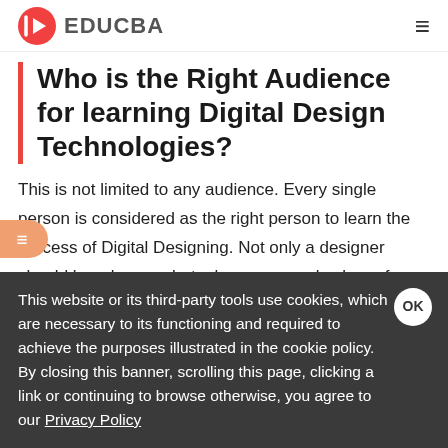EDUCBA
Who is the Right Audience for learning Digital Design Technologies?
This is not limited to any audience. Every single person is considered as the right person to learn the process of Digital Designing. Not only a designer should be a learner, but a layman can also learn few techniques of
This website or its third-party tools use cookies, which are necessary to its functioning and required to achieve the purposes illustrated in the cookie policy. By closing this banner, scrolling this page, clicking a link or continuing to browse otherwise, you agree to our Privacy Policy